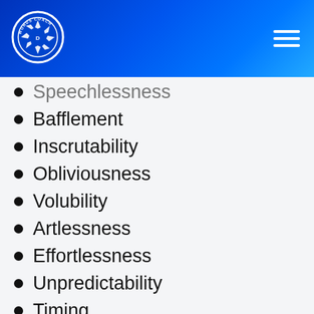[Figure (logo): Words Coach logo — circular blue badge with camera aperture icon and text 'WORDS COACH']
Speechlessness (partial, cropped at top)
Bafflement
Inscrutability
Obliviousness
Volubility
Artlessness
Effortlessness
Unpredictability
Timing
Impassivity (partial, cropped at bottom)